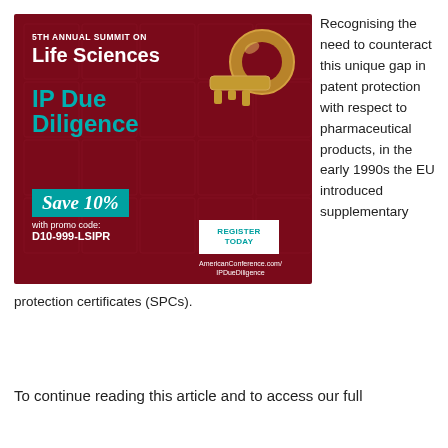[Figure (illustration): Advertisement for 5th Annual Summit on Life Sciences IP Due Diligence. Dark red background with puzzle pieces and a golden key. Text: '5TH ANNUAL SUMMIT ON Life Sciences IP Due Diligence. Save 10% with promo code: D10-999-LSIPR. REGISTER TODAY. AmericanConference.com/IPDueDiligence']
Recognising the need to counteract this unique gap in patent protection with respect to pharmaceutical products, in the early 1990s the EU introduced supplementary protection certificates (SPCs).
To continue reading this article and to access our full